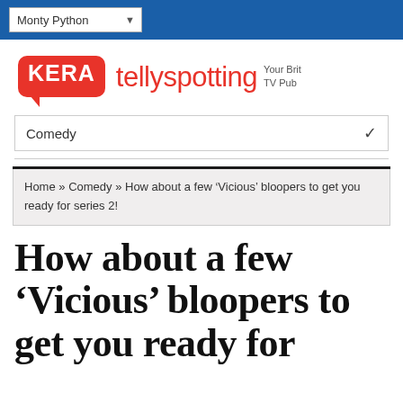Monty Python
[Figure (logo): KERA tellyspotting logo with red badge and tagline 'Your Brit TV Pub']
Comedy
Home » Comedy » How about a few ‘Vicious’ bloopers to get you ready for series 2!
How about a few ‘Vicious’ bloopers to get you ready for